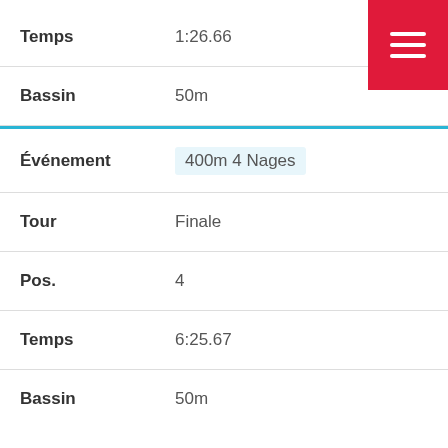| Label | Value |
| --- | --- |
| Temps | 1:26.66 |
| Bassin | 50m |
| Événement | 400m 4 Nages |
| Tour | Finale |
| Pos. | 4 |
| Temps | 6:25.67 |
| Bassin | 50m |
DEBRUYN, BRANDON — 1996
| Label | Value |
| --- | --- |
| Événement | 400m Libre |